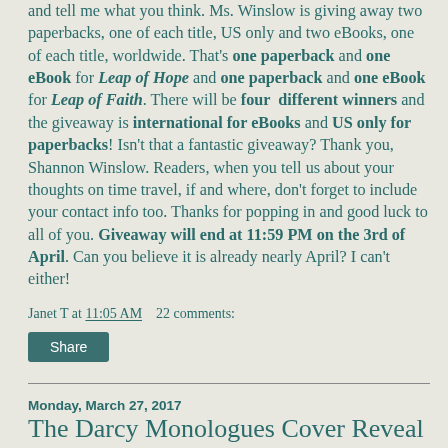and tell me what you think. Ms. Winslow is giving away two paperbacks, one of each title, US only and two eBooks, one of each title, worldwide. That's one paperback and one eBook for Leap of Hope and one paperback and one eBook for Leap of Faith. There will be four different winners and the giveaway is international for eBooks and US only for paperbacks! Isn't that a fantastic giveaway? Thank you, Shannon Winslow. Readers, when you tell us about your thoughts on time travel, if and where, don't forget to include your contact info too. Thanks for popping in and good luck to all of you. Giveaway will end at 11:59 PM on the 3rd of April. Can you believe it is already nearly April? I can't either!
Janet T at 11:05 AM   22 comments:
Share
Monday, March 27, 2017
The Darcy Monologues Cover Reveal